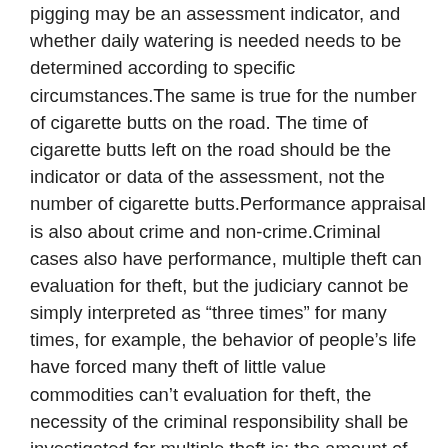pigging may be an assessment indicator, and whether daily watering is needed needs to be determined according to specific circumstances.The same is true for the number of cigarette butts on the road. The time of cigarette butts left on the road should be the indicator or data of the assessment, not the number of cigarette butts.Performance appraisal is also about crime and non-crime.Criminal cases also have performance, multiple theft can evaluation for theft, but the judiciary cannot be simply interpreted as “three times” for many times, for example, the behavior of people’s life have forced many theft of little value commodities can’t evaluation for theft, the necessity of the criminal responsibility shall be investigated for multiple theft is: the amount of theft close to relatively large.In judicial practice, river sand mining is usually identified as illegal mining crime. For example, nine defendants in Shanghai who illegally mined nearly 20,000 tons of fine sand from the Yangtze River were sentenced